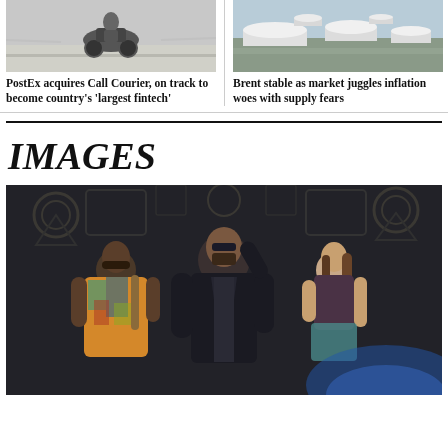[Figure (photo): Motorcycle riding on a road, top portion of image]
[Figure (photo): Aerial view of large white oil storage tanks at an industrial facility]
PostEx acquires Call Courier, on track to become country's 'largest fintech'
Brent stable as market juggles inflation woes with supply fears
[Figure (logo): IMAGES logo in bold italic serif font]
[Figure (photo): Three movie characters posing dramatically in front of an ornate dark stone wall: a man in colorful shirt on left, a man in dark jacket with sunglasses in center, and a woman in purple top on right]